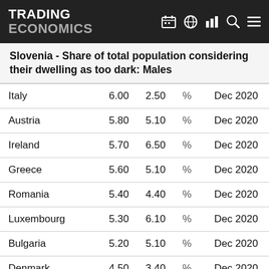TRADING ECONOMICS
Slovenia - Share of total population considering their dwelling as too dark: Males
| Country | Value | Previous | Unit | Date |
| --- | --- | --- | --- | --- |
| Italy | 6.00 | 2.50 | % | Dec 2020 |
| Austria | 5.80 | 5.10 | % | Dec 2020 |
| Ireland | 5.70 | 6.50 | % | Dec 2020 |
| Greece | 5.60 | 5.10 | % | Dec 2020 |
| Romania | 5.40 | 4.40 | % | Dec 2020 |
| Luxembourg | 5.30 | 6.10 | % | Dec 2020 |
| Bulgaria | 5.20 | 5.10 | % | Dec 2020 |
| Denmark | 4.50 | 3.40 | % | Dec 2020 |
| Slovenia | 4.40 | 4.20 | % | Dec 2020 |
| Finland | 3.50 | 3.60 | % | Dec 2020 |